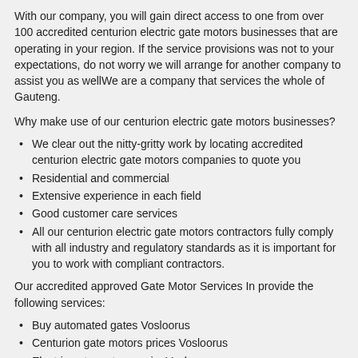With our company, you will gain direct access to one from over 100 accredited centurion electric gate motors businesses that are operating in your region. If the service provisions was not to your expectations, do not worry we will arrange for another company to assist you as wellWe are a company that services the whole of Gauteng.
Why make use of our centurion electric gate motors businesses?
We clear out the nitty-gritty work by locating accredited centurion electric gate motors companies to quote you
Residential and commercial
Extensive experience in each field
Good customer care services
All our centurion electric gate motors contractors fully comply with all industry and regulatory standards as it is important for you to work with compliant contractors.
Our accredited approved Gate Motor Services In provide the following services:
Buy automated gates Vosloorus
Centurion gate motors prices Vosloorus
Electric gate motor repairs Vosloorus
Centurion roller door motor Vosloorus
Driveway gates repair Vosloorus
Century gate motors Vosloorus
Gate Motor Services In Vosloorus
Centurion d5 gate motor Vosloorus